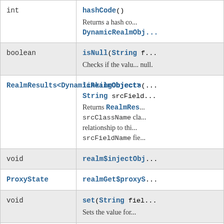| Type | Method and Description |
| --- | --- |
| int | hashCode()
Returns a hash co...
DynamicRealmObj... |
| boolean | isNull(String f...
Checks if the valu... null. |
| RealmResults<DynamicRealmObject> | linkingObjects(...
String srcField...
Returns RealmRes... srcClassName cla... relationship to thi... srcFieldName fie... |
| void | realm$injectObj... |
| ProxyState | realmGet$proxyS... |
| void | set(String fiel...
Sets the value for... |
| void | setBlob(String...
byte[] value)
Sets the binar... |